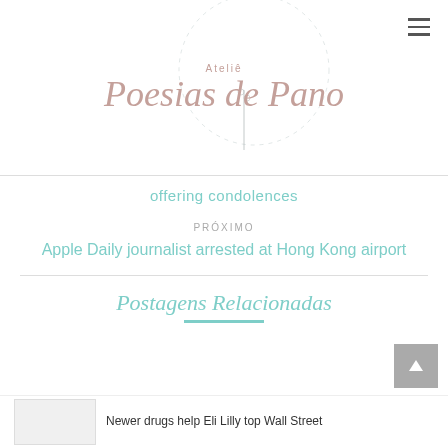[Figure (logo): Ateliê Poesias de Pano logo with decorative dotted circle and script typography in dusty rose/mauve color]
offering condolences
PRÓXIMO
Apple Daily journalist arrested at Hong Kong airport
Postagens Relacionadas
Newer drugs help Eli Lilly top Wall Street